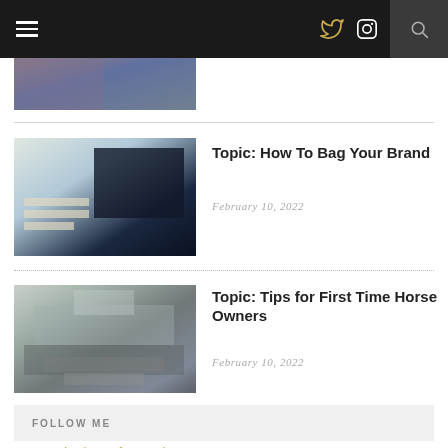Navigation bar with hamburger menu, Twitter icon, Instagram icon, search icon
[Figure (photo): Cropped top portion of a blog post thumbnail image]
Topic: How To Bag Your Brand
February 10, 2022
Topic: Tips for First Time Horse Owners
February 10, 2022
FOLLOW ME
Tweets by joy_of_creating
CATEGORIES
Business